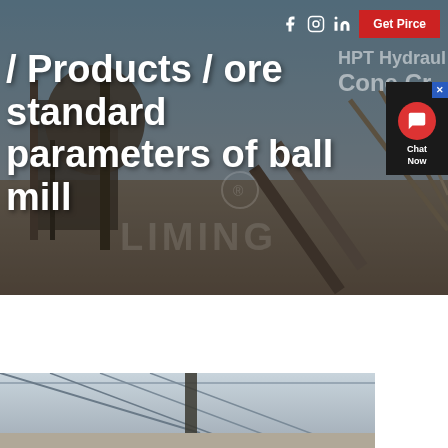[Figure (screenshot): Hero banner with industrial mining/crushing equipment in background. Navigation bar with social icons (Facebook, Instagram, LinkedIn) and a red 'Get Pirce' button. Partially visible text 'HPT Hydraulic Cone Cr...' on right side.]
/ Products / ore standard parameters of ball mill
[Figure (photo): Interior of an industrial facility or warehouse, partial view from bottom of page.]